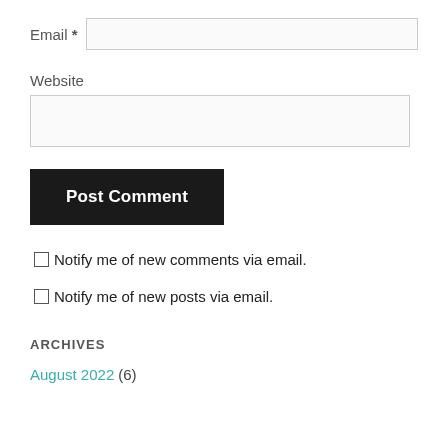Email *
Website
Post Comment
Notify me of new comments via email.
Notify me of new posts via email.
ARCHIVES
August 2022 (6)